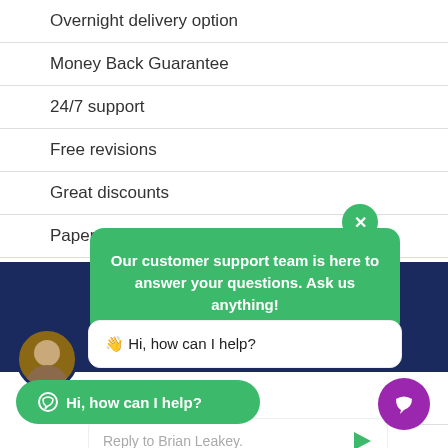Overnight delivery option
Money Back Guarantee
24/7 support
Free revisions
Great discounts
Paper Written from Scratch
Af...
[Figure (screenshot): Green chat popup with close button saying: Our customer support team is here to answer your questions. Ask us anything!]
[Figure (screenshot): White chat bubble with avatar saying: Hi, how can I help?]
Es... (Reply to Brian Leakey input field)
Assignment Writing
[Figure (screenshot): Green bottom chat button: Hi, how can I help?]
[Figure (screenshot): Purple circular chat icon bottom right]